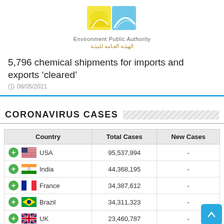[Figure (logo): Environment Public Authority logo: yellow and blue abstract leaf/wave design]
Environment Public Authority
الهيئـة العـامة للبيئـة
5,796 chemical shipments for imports and exports ‘cleared’
08/05/2021
CORONAVIRUS CASES
| Country | Total Cases | New Cases |
| --- | --- | --- |
| USA | 95,537,994 | - |
| India | 44,368,195 | - |
| France | 34,387,612 | - |
| Brazil | 34,311,323 | - |
| UK | 23,460,787 | - |